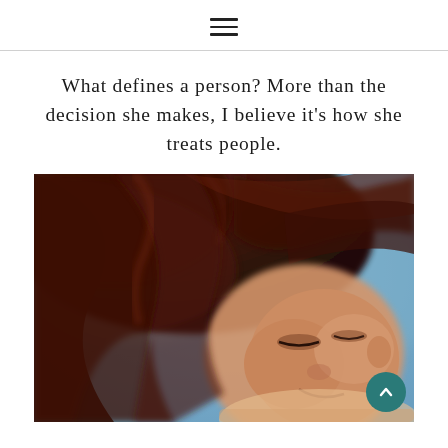Navigation menu icon (hamburger)
What defines a person? More than the decision she makes, I believe it’s how she treats people.
[Figure (photo): Portrait of a woman with dark hair blowing in wind, eyes closed, smiling, blue background]